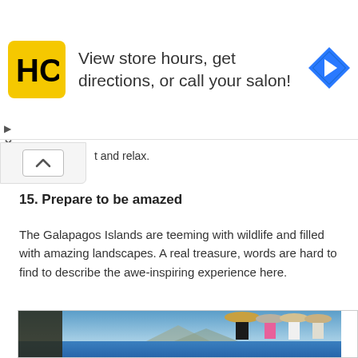[Figure (infographic): Advertisement banner with HC logo (yellow square with black HC letters), text 'View store hours, get directions, or call your salon!', and a blue navigation arrow icon on the right]
t and relax.
15. Prepare to be amazed
The Galapagos Islands are teeming with wildlife and filled with amazing landscapes. A real treasure, words are hard to find to describe the awe-inspiring experience here.
[Figure (photo): Tourists viewed from behind wearing hats, standing near blue water with Galapagos landscape and mountains in background, large cactus in foreground left]